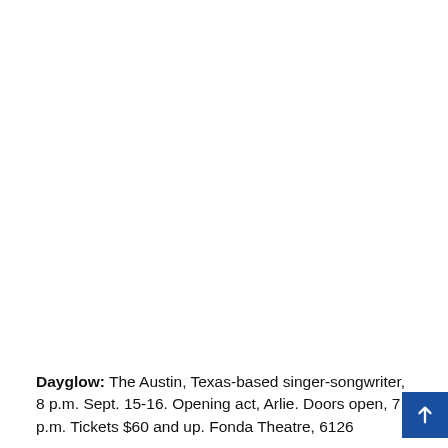Dayglow: The Austin, Texas-based singer-songwriter, 8 p.m. Sept. 15-16. Opening act, Arlie. Doors open, 7 p.m. Tickets $60 and up. Fonda Theatre, 6126 Hollywood Blvd., ...